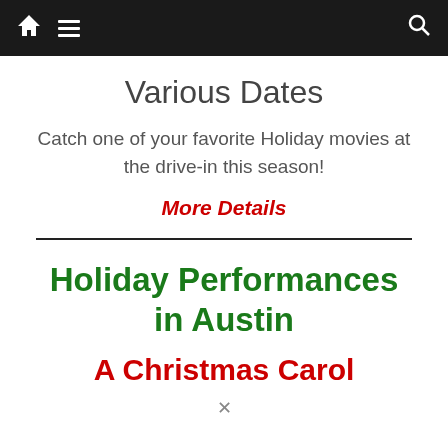Navigation bar with home, menu, and search icons
Various Dates
Catch one of your favorite Holiday movies at the drive-in this season!
More Details
Holiday Performances in Austin
A Christmas Carol